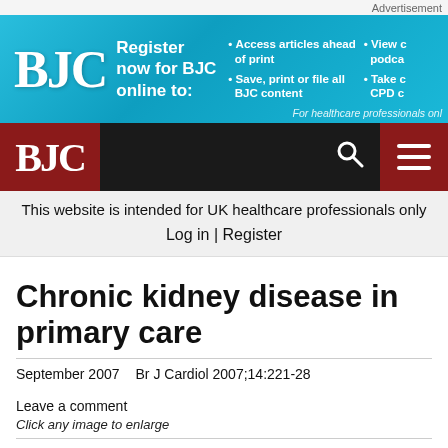Advertisement
[Figure (other): BJC promotional banner with blue medical background. Text reads: BJC | Register now for BJC online to: • Access articles ahead of print • Save, print or file all BJC content • View podcasts • Take CPD. For healthcare professionals only.]
[Figure (other): BJC website navigation bar with dark background, BJC logo in red box on left, search icon and hamburger menu in red box on right.]
This website is intended for UK healthcare professionals only
Log in | Register
Chronic kidney disease in primary care
September 2007   Br J Cardiol 2007;14:221-28   Leave a comment
Click any image to enlarge
Authors: Juliet Usher-Smith, Andy Young   Show details